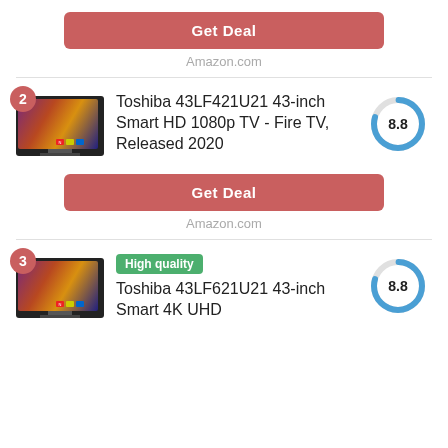Get Deal
Amazon.com
2
Toshiba 43LF421U21 43-inch Smart HD 1080p TV - Fire TV, Released 2020
[Figure (donut-chart): Score]
Get Deal
Amazon.com
3
High quality
Toshiba 43LF621U21 43-inch Smart 4K UHD
[Figure (donut-chart): Score]